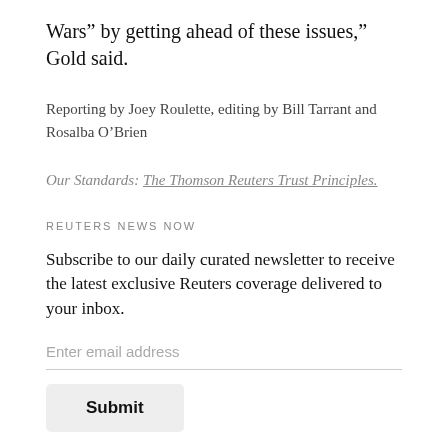Wars” by getting ahead of these issues,” Gold said.
Reporting by Joey Roulette, editing by Bill Tarrant and Rosalba O’Brien
Our Standards: The Thomson Reuters Trust Principles.
REUTERS NEWS NOW
Subscribe to our daily curated newsletter to receive the latest exclusive Reuters coverage delivered to your inbox.
Enter email address
Submit